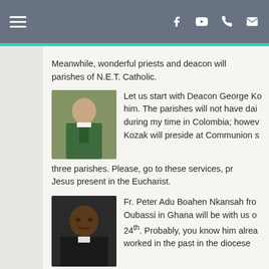Navigation header with hamburger menu and social icons (Facebook, YouTube, phone, email)
Meanwhile, wonderful priests and deacon will parishes of N.E.T. Catholic.
[Figure (photo): Photo of a priest in green vestments standing inside a church]
Let us start with Deacon George Ko him. The parishes will not have dai during my time in Colombia; howev Kozak will preside at Communion s three parishes. Please, go to these services, pr Jesus present in the Eucharist.
[Figure (photo): Portrait photo of Fr. Peter Adu Boahen Nkansah, an African priest in clerical collar]
Fr. Peter Adu Boahen Nkansah fro Oubassi in Ghana will be with us o 24th. Probably, you know him alrea worked in the past in the diocese last assignment was in Rush, NY. He will be pre the missions for his Diocese. Let us welcome h generous in our help for his mission.